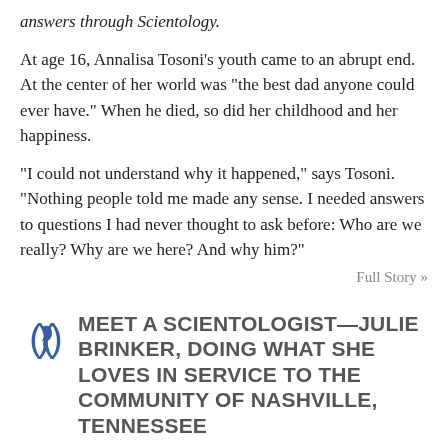answers through Scientology.
At age 16, Annalisa Tosoni’s youth came to an abrupt end. At the center of her world was “the best dad anyone could ever have.” When he died, so did her childhood and her happiness.
“I could not understand why it happened,” says Tosoni. “Nothing people told me made any sense. I needed answers to questions I had never thought to ask before: Who are we really? Why are we here? And why him?”
Full Story »
MEET A SCIENTOLOGIST—JULIE BRINKER, DOING WHAT SHE LOVES IN SERVICE TO THE COMMUNITY OF NASHVILLE, TENNESSEE